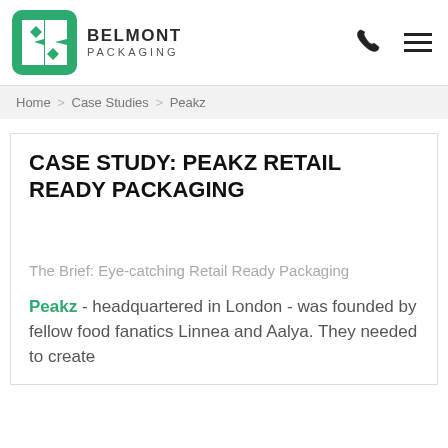[Figure (logo): Belmont Packaging green logo with stylized B and P letters, diamond shapes]
BELMONT PACKAGING
Home > Case Studies > Peakz
CASE STUDY: PEAKZ RETAIL READY PACKAGING
The Brief: Eye-catching Retail Ready Packaging
Peakz - headquartered in London - was founded by fellow food fanatics Linnea and Aalya. They needed to create